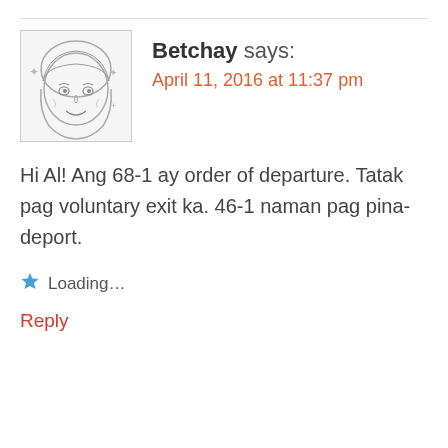Betchay says:
April 11, 2016 at 11:37 pm
Hi Al! Ang 68-1 ay order of departure. Tatak pag voluntary exit ka. 46-1 naman pag pina-deport.
Loading...
Reply